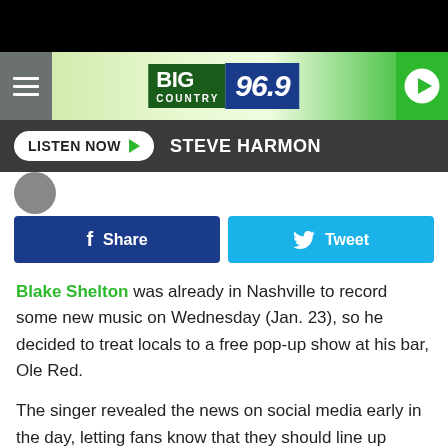[Figure (screenshot): Big Country 96.9 radio station header with hamburger menu, logo, and play button on green gradient background]
LISTEN NOW  STEVE HARMON
[Figure (other): Social sharing buttons: Facebook Share and Twitter Tweet]
Blake Shelton was already in Nashville to record some new music on Wednesday (Jan. 23), so he decided to treat locals to a free pop-up show at his bar, Ole Red.
The singer revealed the news on social media early in the day, letting fans know that they should line up outside his bar on Lower Broadway beginning at 1PM to receive a wristband and access to the show later that night.